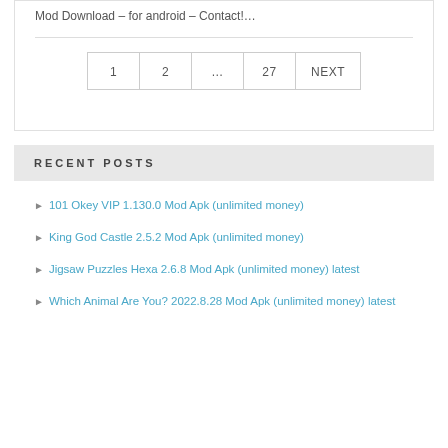Mod Download – for android – Contact!…
1  2  ...  27  NEXT
RECENT POSTS
101 Okey VIP 1.130.0 Mod Apk (unlimited money)
King God Castle 2.5.2 Mod Apk (unlimited money)
Jigsaw Puzzles Hexa 2.6.8 Mod Apk (unlimited money) latest
Which Animal Are You? 2022.8.28 Mod Apk (unlimited money) latest